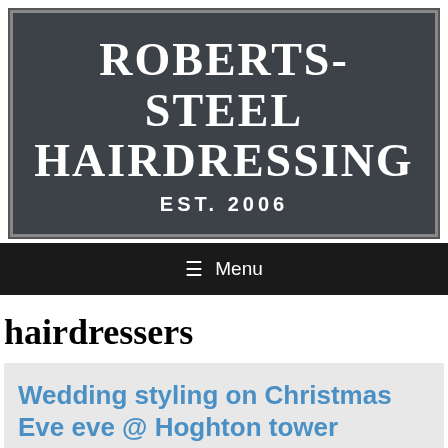[Figure (logo): Roberts-Steel Hairdressing logo on dark grey background with border, Est. 2006]
≡ Menu
hairdressers
Wedding styling on Christmas Eve eve @ Hoghton tower
January 2, 2018 by Natalie